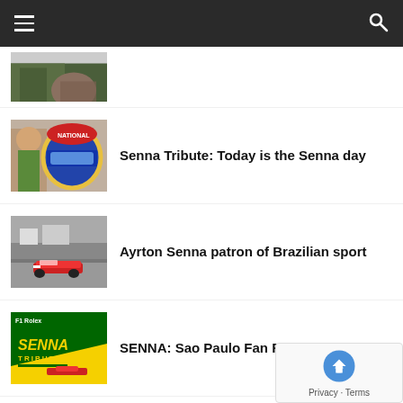Navigation bar with hamburger menu and search icon
[Figure (photo): Partial thumbnail of a nature/outdoor photo, partially visible at top]
[Figure (photo): Ayrton Senna in racing helmet with a woman beside him]
Senna Tribute: Today is the Senna day
[Figure (photo): Ayrton Senna's Formula 1 car racing on track]
Ayrton Senna patron of Brazilian sport
[Figure (photo): Senna Tribute F1 yellow and green promotional graphic]
SENNA: Sao Paulo Fan Festival 2019
[Figure (photo): Black and white portrait photo of Ayrton Senna]
Ayrton Senna photo up for auction